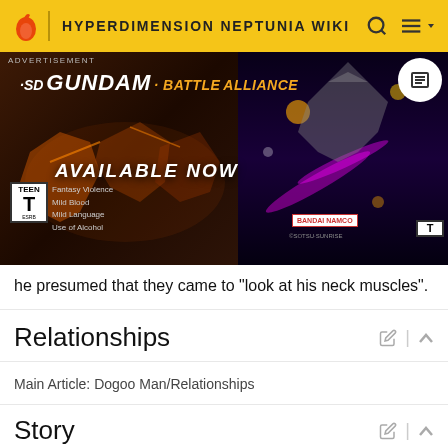HYPERDIMENSION NEPTUNIA WIKI
[Figure (screenshot): SD Gundam Battle Alliance advertisement banner showing mecha robots, 'AVAILABLE NOW' text, TEEN rating badge, Bandai Namco logo]
he presumed that they came to "look at his neck muscles".
Relationships
Main Article: Dogoo Man/Relationships
Story
Megadimension Neptunia VII